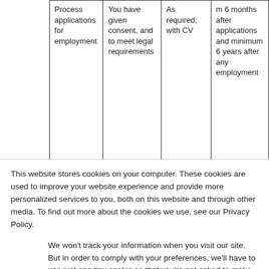| Process applications for employment | You have given consent, and to meet legal requirements | As required; with CV | m 6 months after applications and minimum 6 years after any employment |
This website stores cookies on your computer. These cookies are used to improve your website experience and provide more personalized services to you, both on this website and through other media. To find out more about the cookies we use, see our Privacy Policy.
We won't track your information when you visit our site. But in order to comply with your preferences, we'll have to use just one tiny cookie so that you're not asked to make this choice again.
Accept | Decline